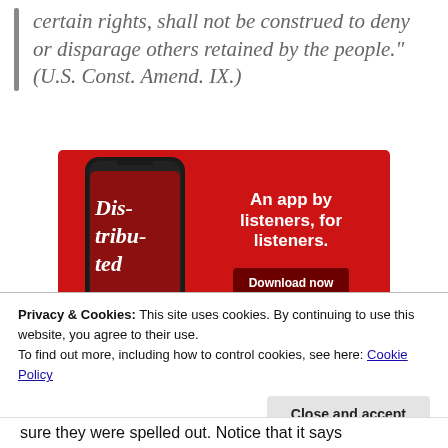certain rights, shall not be construed to deny or disparage others retained by the people." (U.S. Const. Amend. IX.)
[Figure (illustration): Advertisement for a podcast app showing a smartphone with the 'Distributed' podcast app on screen. Red background. Text reads 'An app by listeners, for listeners.' with a 'Download now' button.]
Privacy & Cookies: This site uses cookies. By continuing to use this website, you agree to their use.
To find out more, including how to control cookies, see here: Cookie Policy
Close and accept
sure they were spelled out. Notice that it says